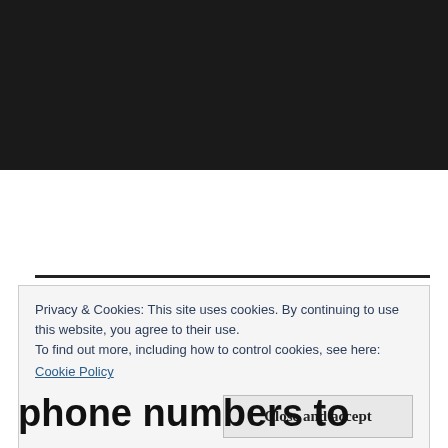[Figure (other): Black rectangle filling the top portion of the page, likely a video or image placeholder]
Privacy & Cookies: This site uses cookies. By continuing to use this website, you agree to their use.
To find out more, including how to control cookies, see here:
Cookie Policy
Close and accept
phone numbers to